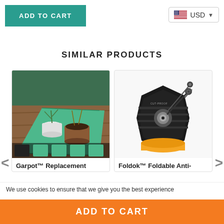ADD TO CART
USD
SIMILAR PRODUCTS
[Figure (photo): Garbot Replacement gardening mat product photo showing green mat on wooden table with potted plants and small garden items]
Garpot™ Replacement
[Figure (photo): Foldok Foldable Anti-theft lock product photo showing black hexagonal padlock with keys]
Foldok™ Foldable Anti-
We use cookies to ensure that we give you the best experience
ADD TO CART